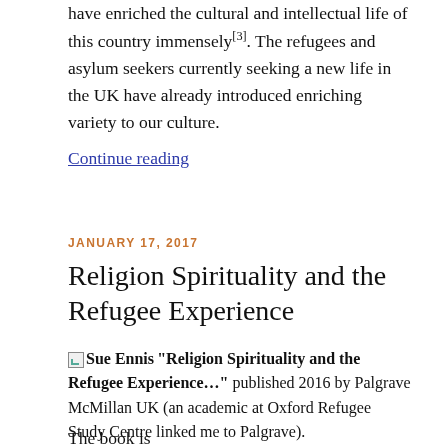have enriched the cultural and intellectual life of this country immensely[3]. The refugees and asylum seekers currently seeking a new life in the UK have already introduced enriching variety to our culture.
Continue reading
JANUARY 17, 2017
Religion Spirituality and the Refugee Experience
Sue Ennis "Religion Spirituality and the Refugee Experience..." published 2016 by Palgrave McMillan UK (an academic at Oxford Refugee Study Centre linked me to Palgrave).
The book is